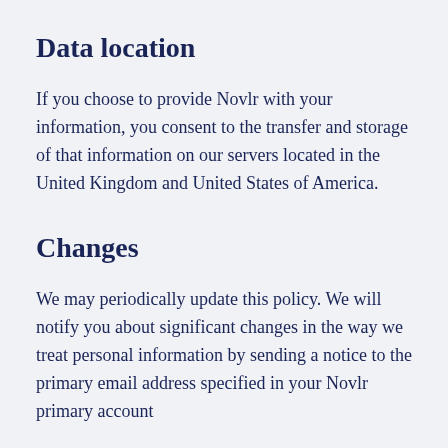Data location
If you choose to provide Novlr with your information, you consent to the transfer and storage of that information on our servers located in the United Kingdom and United States of America.
Changes
We may periodically update this policy. We will notify you about significant changes in the way we treat personal information by sending a notice to the primary email address specified in your Novlr primary account